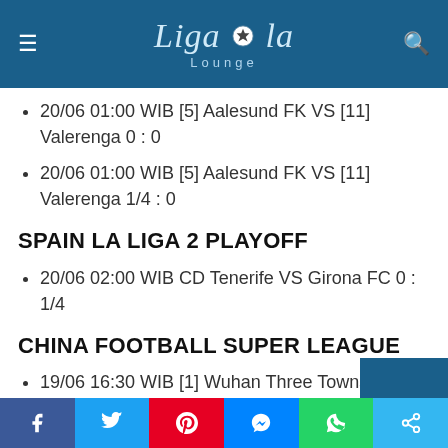Ligaidola Lounge
20/06 01:00 WIB [5] Aalesund FK VS [11] Valerenga 0 : 0
20/06 01:00 WIB [5] Aalesund FK VS [11] Valerenga 1/4 : 0
SPAIN LA LIGA 2 PLAYOFF
20/06 02:00 WIB CD Tenerife VS Girona FC 0 : 1/4
CHINA FOOTBALL SUPER LEAGUE
19/06 16:30 WIB [1] Wuhan Three Towns